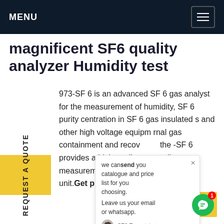MENU
magnificent SF6 quality analyzer Humidity test
973-SF 6 is an advanced SF 6 gas analyst for the measurement of humidity, SF 6 purity concentration in SF 6 gas insulated s and other high voltage equipment rnal gas containment and recov the -SF 6 provides a high quality ntally e measurement solution within a tained unit.Get price
[Figure (screenshot): Chat popup overlay with message: we can send you catalogue and price list for you choosing. Leave us your email or whatsapp. SF6 Expert just now. Write. Thumbs up and paperclip icons.]
REQUEST A QUOTE